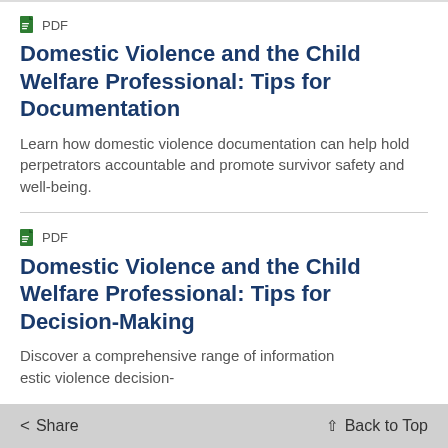[Figure (logo): Green PDF file icon with label PDF]
Domestic Violence and the Child Welfare Professional: Tips for Documentation
Learn how domestic violence documentation can help hold perpetrators accountable and promote survivor safety and well-being.
[Figure (logo): Green PDF file icon with label PDF]
Domestic Violence and the Child Welfare Professional: Tips for Decision-Making
Discover a comprehensive range of information domestic violence decision-
< Share   ↑ Back to Top